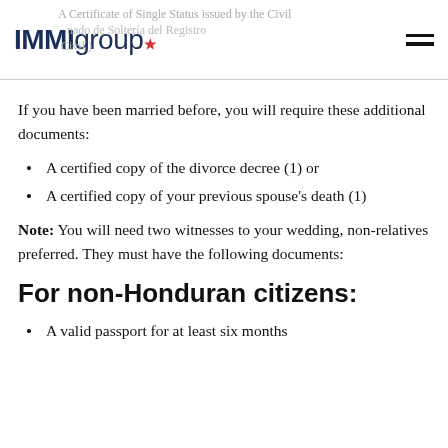IMIgroup* [logo] | A Certificate of Single Status issued by the Civil Registry (Certificado de Soltería del Registro Civil)
If you have been married before, you will require these additional documents:
A certified copy of the divorce decree (1) or
A certified copy of your previous spouse's death (1)
Note: You will need two witnesses to your wedding, non-relatives preferred. They must have the following documents:
For non-Honduran citizens:
A valid passport for at least six months